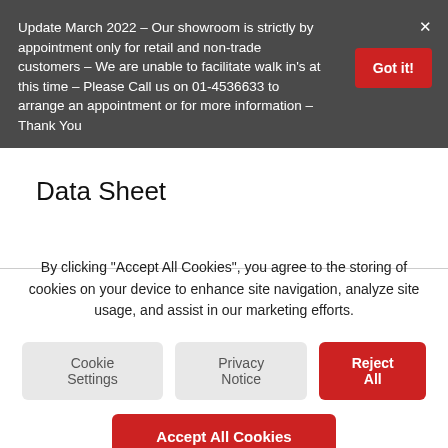Update March 2022 – Our showroom is strictly by appointment only for retail and non-trade customers – We are unable to facilitate walk in's at this time – Please Call us on 01-4536633 to arrange an appointment or for more information – Thank You
Data Sheet
By clicking "Accept All Cookies", you agree to the storing of cookies on your device to enhance site navigation, analyze site usage, and assist in our marketing efforts.